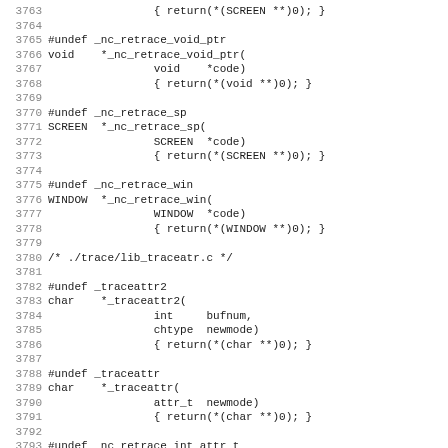[Figure (screenshot): Source code listing in monospace font with line numbers 3763-3795, showing C macro undefinitions for ncurses trace functions including _nc_retrace_void_ptr, _nc_retrace_sp, _nc_retrace_win, _traceattr2, _traceattr, and _nc_retrace_int_attr_t]